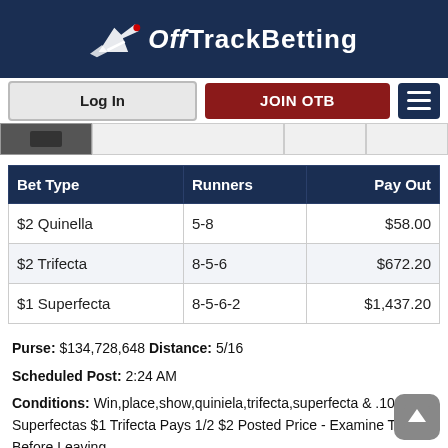OffTrackBetting
Log In | JOIN OTB
| Bet Type | Runners | Pay Out |
| --- | --- | --- |
| $2 Quinella | 5-8 | $58.00 |
| $2 Trifecta | 8-5-6 | $672.20 |
| $1 Superfecta | 8-5-6-2 | $1,437.20 |
Purse: $134,728,648 Distance: 5/16
Scheduled Post: 2:24 AM
Conditions: Win,place,show,quiniela,trifecta,superfecta & .10 Superfectas $1 Trifecta Pays 1/2 $2 Posted Price - Examine Tickets Before Leaving
Also Ran: Ff Barbara Ann, B's Show Stopper, Tb's